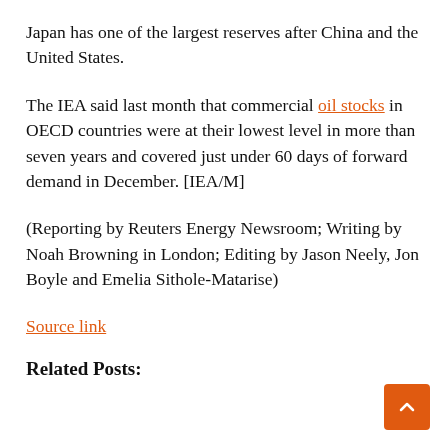Japan has one of the largest reserves after China and the United States.
The IEA said last month that commercial oil stocks in OECD countries were at their lowest level in more than seven years and covered just under 60 days of forward demand in December. [IEA/M]
(Reporting by Reuters Energy Newsroom; Writing by Noah Browning in London; Editing by Jason Neely, Jon Boyle and Emelia Sithole-Matarise)
Source link
Related Posts: